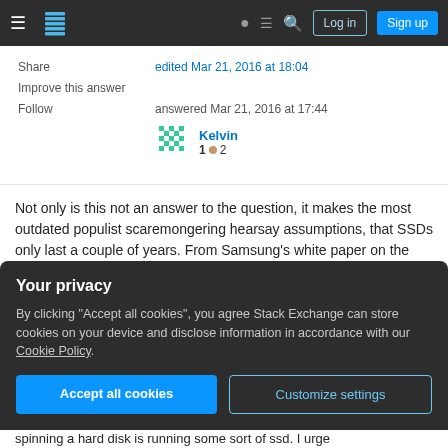Stack Exchange navigation bar with hamburger menu, logo, help, chat, search icons, Log in and Sign up buttons
Share
edited Mar 21, 2016 at 18:04
Improve this answer
Follow
answered Mar 21, 2016 at 17:44
[Figure (other): User avatar for Kelvin — green pixelated icon]
Kelvin
1 ● 2
Not only is this not an answer to the question, it makes the most outdated populist scaremongering hearsay assumptions, that SSDs only last a couple of years. From Samsung's white paper on the technology...
Your privacy
By clicking "Accept all cookies", you agree Stack Exchange can store cookies on your device and disclose information in accordance with our Cookie Policy.
Accept all cookies
Customize settings
spinning a hard disk is running some sort of ssd. I urge